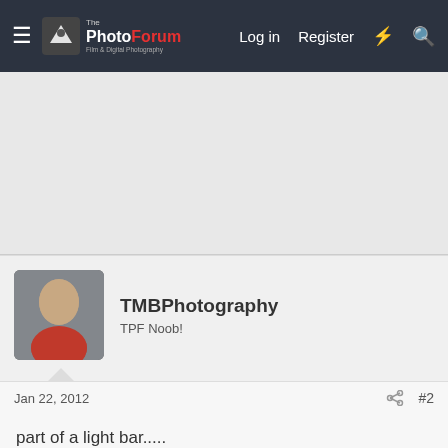The PhotoForum — Log in | Register
[Figure (screenshot): Advertisement banner area]
TMBPhotography
TPF Noob!
Jan 22, 2012 · #2
part of a light bar.....
Destin
Been spending a lot of time on here!